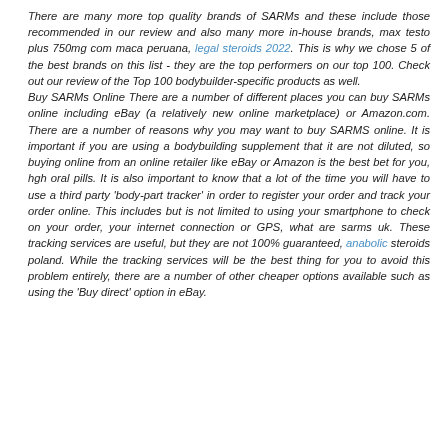There are many more top quality brands of SARMs and these include those recommended in our review and also many more in-house brands, max testo plus 750mg com maca peruana, legal steroids 2022. This is why we chose 5 of the best brands on this list - they are the top performers on our top 100. Check out our review of the Top 100 bodybuilder-specific products as well. Buy SARMs Online There are a number of different places you can buy SARMs online including eBay (a relatively new online marketplace) or Amazon.com. There are a number of reasons why you may want to buy SARMS online. It is important if you are using a bodybuilding supplement that it are not diluted, so buying online from an online retailer like eBay or Amazon is the best bet for you, hgh oral pills. It is also important to know that a lot of the time you will have to use a third party 'body-part tracker' in order to register your order and track your order online. This includes but is not limited to using your smartphone to check on your order, your internet connection or GPS, what are sarms uk. These tracking services are useful, but they are not 100% guaranteed, anabolic steroids poland. While the tracking services will be the best thing for you to avoid this problem entirely, there are a number of other cheaper options available such as using the 'Buy direct' option in eBay.